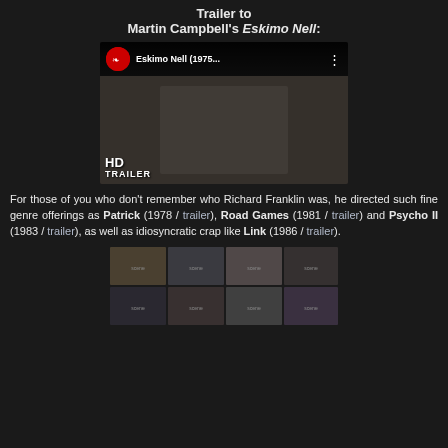Trailer to
Martin Campbell's Eskimo Nell:
[Figure (screenshot): YouTube video thumbnail for Eskimo Nell (1975...) showing a man in a suit with HD TRAILER overlay and YouTube play button]
For those of you who don't remember who Richard Franklin was, he directed such fine genre offerings as Patrick (1978 / trailer), Road Games (1981 / trailer) and Psycho II (1983 / trailer), as well as idiosyncratic crap like Link (1986 / trailer).
[Figure (screenshot): Film strip grid of movie screenshots arranged in rows and columns showing various scenes]